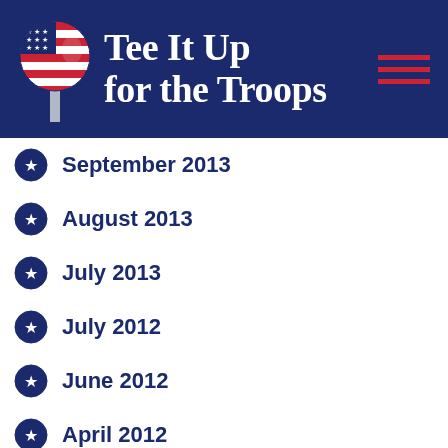[Figure (logo): Tee It Up for the Troops logo banner with golf ball featuring American flag design on tee, white serif brand text, and red hamburger menu icon on navy blue background]
September 2013
August 2013
July 2013
July 2012
June 2012
April 2012
December 2011